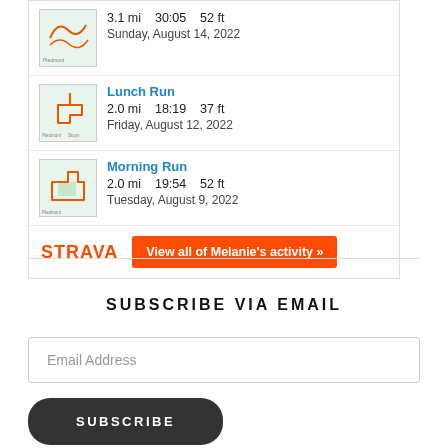[Figure (screenshot): Strava activity widget showing two running activities: Lunch Run (2.0 mi, 18:19, 37 ft, Friday August 12 2022) and Morning Run (2.0 mi, 19:54, 52 ft, Tuesday August 9 2022), with Strava logo and a button to view all of Melanie's activity]
SUBSCRIBE VIA EMAIL
Email Address
SUBSCRIBE